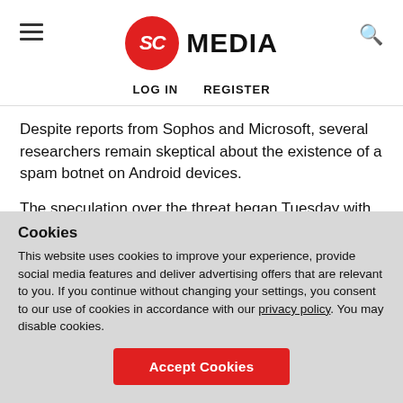SC MEDIA — LOG IN  REGISTER
Despite reports from Sophos and Microsoft, several researchers remain skeptical about the existence of a spam botnet on Android devices.
The speculation over the threat began Tuesday with a blog post from Terry Zink, a program manager for Microsoft Forefront Online Security. Spam messages were being sent
Cookies
This website uses cookies to improve your experience, provide social media features and deliver advertising offers that are relevant to you. If you continue without changing your settings, you consent to our use of cookies in accordance with our privacy policy. You may disable cookies.
Accept Cookies